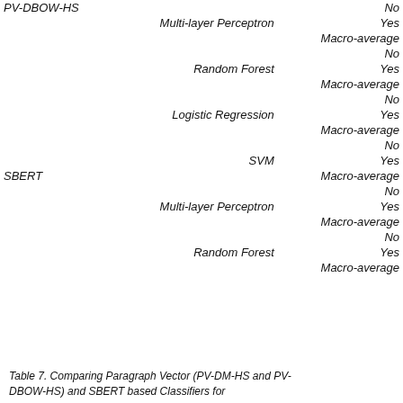| Embedding | Classifier | Data Augmentation |
| --- | --- | --- |
| PV-DBOW-HS |  | No |
|  | Multi-layer Perceptron | Yes |
|  |  | Macro-average |
|  |  | No |
|  | Random Forest | Yes |
|  |  | Macro-average |
|  |  | No |
|  | Logistic Regression | Yes |
|  |  | Macro-average |
|  |  | No |
|  | SVM | Yes |
| SBERT |  | Macro-average |
|  |  | No |
|  | Multi-layer Perceptron | Yes |
|  |  | Macro-average |
|  |  | No |
|  | Random Forest | Yes |
|  |  | Macro-average |
Table 7. Comparing Paragraph Vector (PV-DM-HS and PV-DBOW-HS) and SBERT based Classifiers for